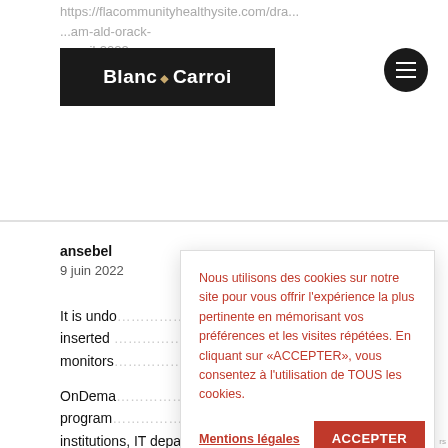https://flacommunityhealthysite.com/dra... ...am-ald-orack-... ...april-2022 50e0806aeb dersch
[Figure (logo): Blanc N Carroi logo — white text on black background rectangular box]
[Figure (other): Black circular hamburger menu button with three white horizontal lines]
ansebel
9 juin 2022
It is undo... inserted ... monitors...
OnDema... program... institutions, IT departments, remote
Nous utilisons des cookies sur notre site pour vous offrir l'expérience la plus pertinente en mémorisant vos préférences et les visites répétées. En cliquant sur «ACCEPTER», vous consentez à l'utilisation de TOUS les cookies.
Mentions légales
ACCEPTER